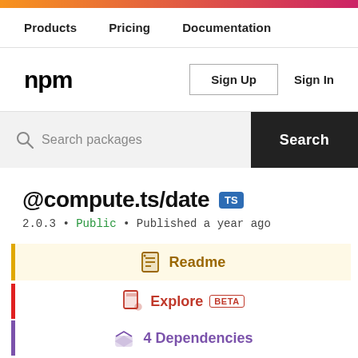Products  Pricing  Documentation
[Figure (logo): npm logo in black bold text]
Sign Up  Sign In
Search packages  Search
@compute.ts/date  TS
2.0.3 • Public • Published a year ago
Readme
Explore  BETA
4 Dependencies